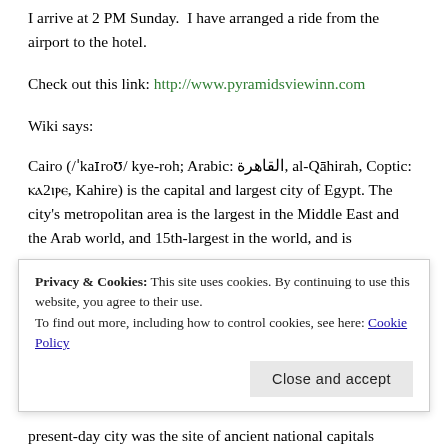I arrive at 2 PM Sunday.  I have arranged a ride from the airport to the hotel.
Check out this link: http://www.pyramidsviewinn.com
Wiki says:
Cairo (/ˈkaɪroʊ/ kye-roh; Arabic: القاهرة, al-Qāhirah, Coptic: ⲙⲡ㈱2c97ⲣ, Kahire) is the capital and largest city of Egypt. The city's metropolitan area is the largest in the Middle East and the Arab world, and 15th-largest in the world, and is
Privacy & Cookies: This site uses cookies. By continuing to use this website, you agree to their use.
To find out more, including how to control cookies, see here: Cookie Policy
present-day city was the site of ancient national capitals